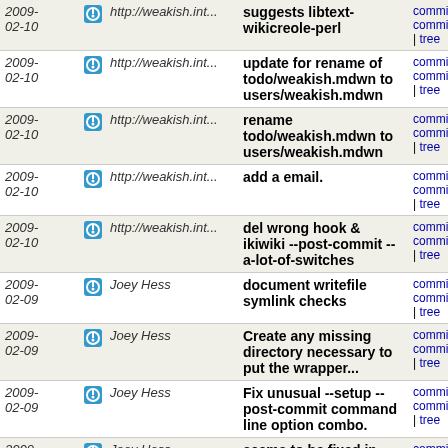| Date | Author | Message | Links |
| --- | --- | --- | --- |
| 2009-02-10 | http://weakish.int... | suggests libtext-wikicreole-perl | commit | commitdiff | tree |
| 2009-02-10 | http://weakish.int... | update for rename of todo/weakish.mdwn to users/weakish.mdwn | commit | commitdiff | tree |
| 2009-02-10 | http://weakish.int... | rename todo/weakish.mdwn to users/weakish.mdwn | commit | commitdiff | tree |
| 2009-02-10 | http://weakish.int... | add a email. | commit | commitdiff | tree |
| 2009-02-10 | http://weakish.int... | del wrong hook & ikiwiki --post-commit --a-lot-of-switches | commit | commitdiff | tree |
| 2009-02-09 | Joey Hess | document writefile symlink checks | commit | commitdiff | tree |
| 2009-02-09 | Joey Hess | Create any missing directory necessary to put the wrapper... | commit | commitdiff | tree |
| 2009-02-09 | Joey Hess | Fix unusual --setup --post-commit command line option combo. | commit | commitdiff | tree |
| 2009-02-09 | Joey Hess | seems to be fixed in current File::MimeInfo versions | commit | commitdiff | tree |
| 2009-02-09 | Joey Hess | reorg | commit | commitdiff | tree |
| 2009-02-09 | muammar | (no commit message) | commit | commitdiff |